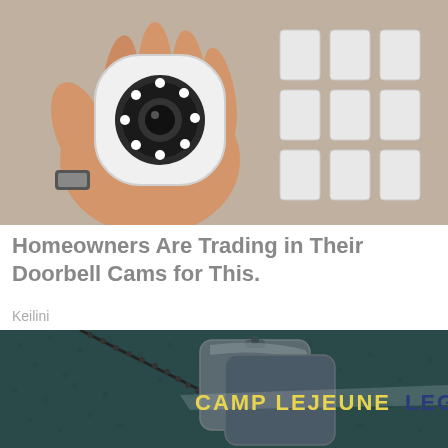[Figure (photo): Hand holding a small white security camera with LED ring, with packaged units in background]
Homeowners Are Trading in Their Doorbell Cams for This.
Keilini
[Figure (photo): Military dog tags on a dark leather textured background with text 'CAMP LEJEUNE LEGAL' overlaid in yellow and white]